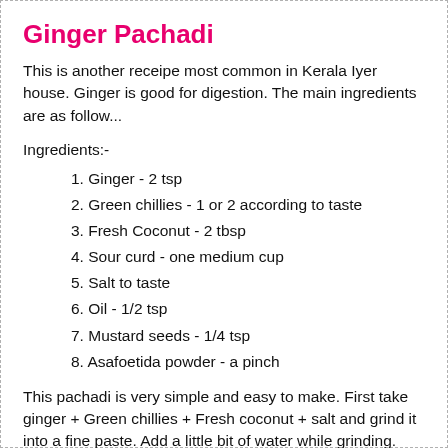Ginger Pachadi
This is another receipe most common in Kerala Iyer house. Ginger is good for digestion. The main ingredients are as follow...
Ingredients:-
1. Ginger - 2 tsp
2. Green chillies - 1 or 2 according to taste
3. Fresh Coconut - 2 tbsp
4. Sour curd - one medium cup
5. Salt to taste
6. Oil - 1/2 tsp
7. Mustard seeds - 1/4 tsp
8. Asafoetida powder - a pinch
This pachadi is very simple and easy to make. First take ginger + Green chillies + Fresh coconut + salt and grind it into a fine paste. Add a little bit of water while grinding. Now